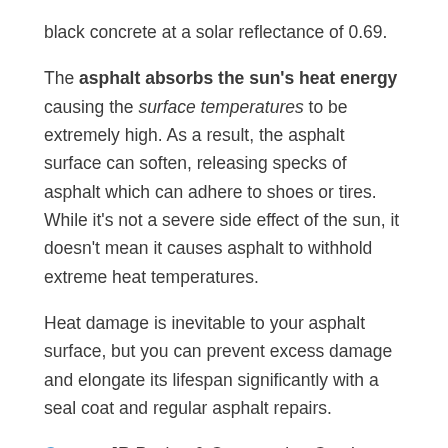black concrete at a solar reflectance of 0.69.
The asphalt absorbs the sun's heat energy causing the surface temperatures to be extremely high. As a result, the asphalt surface can soften, releasing specks of asphalt which can adhere to shoes or tires. While it's not a severe side effect of the sun, it doesn't mean it causes asphalt to withhold extreme heat temperatures.
Heat damage is inevitable to your asphalt surface, but you can prevent excess damage and elongate its lifespan significantly with a seal coat and regular asphalt repairs.
Contact JR Paving & Construction Co., Inc., today for all your paving needs.